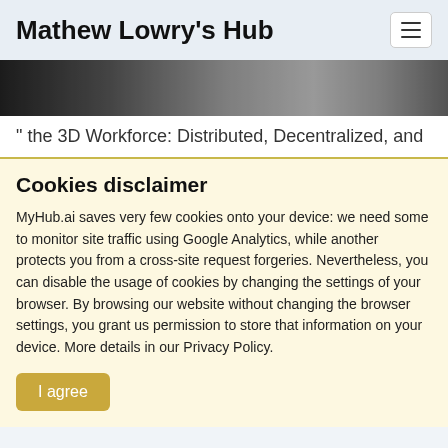Mathew Lowry's Hub
[Figure (photo): Blurred dark grayscale banner image]
" the 3D Workforce: Distributed, Decentralized, and
Cookies disclaimer
MyHub.ai saves very few cookies onto your device: we need some to monitor site traffic using Google Analytics, while another protects you from a cross-site request forgeries. Nevertheless, you can disable the usage of cookies by changing the settings of your browser. By browsing our website without changing the browser settings, you grant us permission to store that information on your device. More details in our Privacy Policy.
I agree